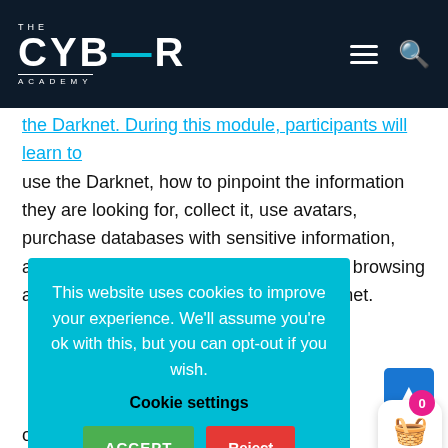[Figure (logo): The Cyber Academy logo on dark navy background with hamburger menu and search icon]
the Darknet. During this module, participants will learn to use the Darknet, how to pinpoint the information they are looking for, collect it, use avatars, purchase databases with sensitive information, and activate different automated tools for browsing and extracting information from the Darknet.
This website uses cookies to improve your experience. We'll assume you're ok with this, but you can opt-out if you wish.
Cookie settings
ACCEPT   Reject
o Onion System